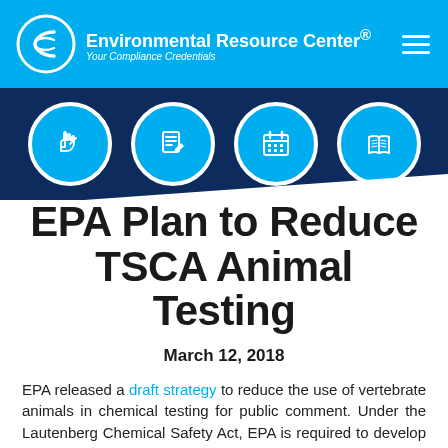Environmental Resource Center® — Your Compliance Credentials
[Figure (infographic): Four circular icon buttons on dark navy background: hand/cursor icon, document/edit icon, calendar icon, open book icon]
EPA Plan to Reduce TSCA Animal Testing
March 12, 2018
EPA released a draft strategy to reduce the use of vertebrate animals in chemical testing for public comment. Under the Lautenberg Chemical Safety Act, EPA is required to develop a strategy to promote the